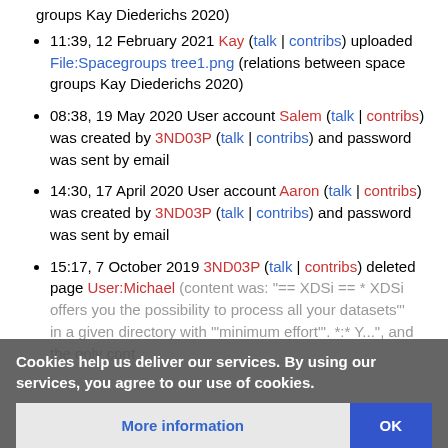groups Kay Diederichs 2020)
11:39, 12 February 2021 Kay (talk | contribs) uploaded File:Spacegroups tree1.png (relations between space groups Kay Diederichs 2020)
08:38, 19 May 2020 User account Salem (talk | contribs) was created by 3ND03P (talk | contribs) and password was sent by email
14:30, 17 April 2020 User account Aaron (talk | contribs) was created by 3ND03P (talk | contribs) and password was sent by email
15:17, 7 October 2019 3ND03P (talk | contribs) deleted page User:Michael (content was: "== XDSi == * XDSi offers you the possibility to process all your datasets in a given directory with "minimum effort". *:* Y...", and the only cont
Cookies help us deliver our services. By using our services, you agree to our use of cookies.